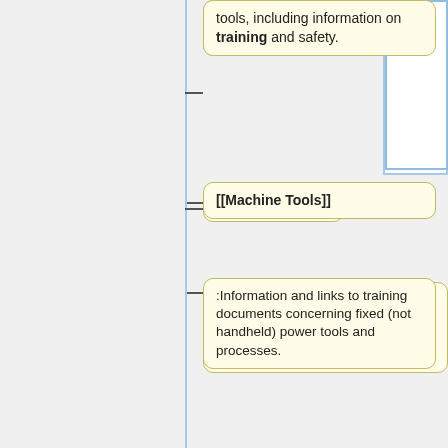tools, including information on training and safety.
[[Machine Tools]]
:Information and links to training documents concerning fixed (not handheld) power tools and processes.
[[Welding]]
:The Department of Art's Sculpture Studio makes their tools